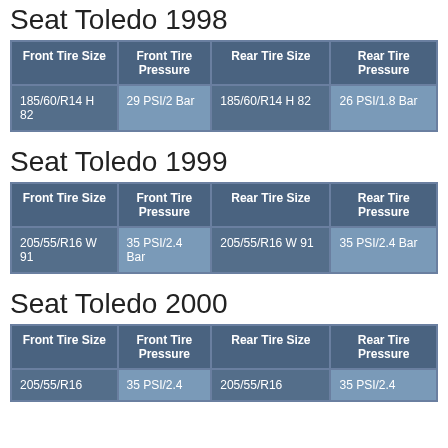Seat Toledo 1998
| Front Tire Size | Front Tire Pressure | Rear Tire Size | Rear Tire Pressure |
| --- | --- | --- | --- |
| 185/60/R14 H 82 | 29 PSI/2 Bar | 185/60/R14 H 82 | 26 PSI/1.8 Bar |
Seat Toledo 1999
| Front Tire Size | Front Tire Pressure | Rear Tire Size | Rear Tire Pressure |
| --- | --- | --- | --- |
| 205/55/R16 W 91 | 35 PSI/2.4 Bar | 205/55/R16 W 91 | 35 PSI/2.4 Bar |
Seat Toledo 2000
| Front Tire Size | Front Tire Pressure | Rear Tire Size | Rear Tire Pressure |
| --- | --- | --- | --- |
| 205/55/R16 | 35 PSI/2.4 | 205/55/R16 | 35 PSI/2.4 |